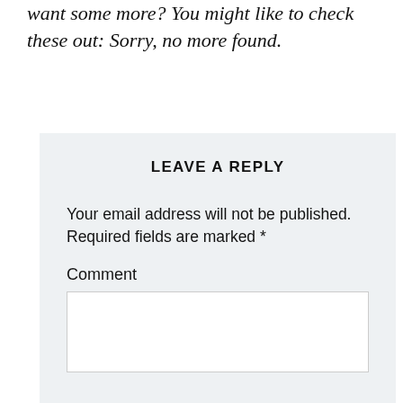want some more? You might like to check these out: Sorry, no more found.
LEAVE A REPLY
Your email address will not be published. Required fields are marked *
Comment